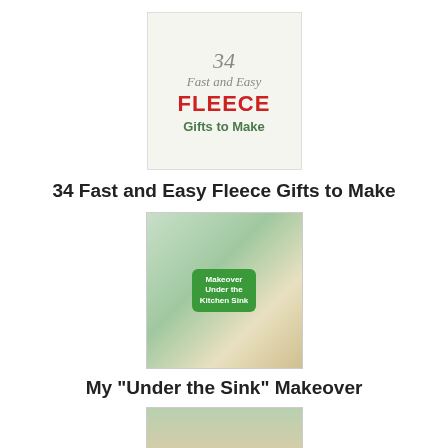[Figure (illustration): Book cover: '34 Fast and Easy Fleece Gifts to Make' with decorative text styling]
34 Fast and Easy Fleece Gifts to Make
[Figure (photo): Photo of under-sink cabinet organization with a green badge reading 'Makeover Under the Kitchen Sink']
My "Under the Sink" Makeover
[Figure (photo): Photo of dark blueberry preserves on a surface with a jar in the background]
Blueberry Preserves Made Without Pectin and Without Sugar
[Figure (photo): Photo of silver/white rings or loops on a blue background]